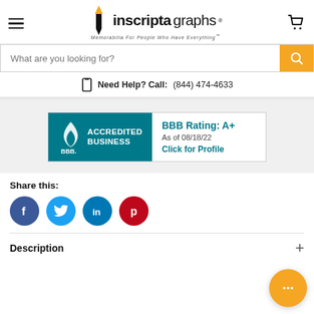inscriptagraphs - Memorabilia For People Who Have Everything™
What are you looking for?
Need Help? Call: (844) 474-4633
[Figure (logo): BBB Accredited Business badge with teal background showing BBB flame logo, text 'ACCREDITED BUSINESS', BBB Rating: A+, As of 08/18/22, Click for Profile]
Share this:
[Figure (illustration): Social sharing icons: Facebook (blue circle with f), Twitter (light blue circle with bird), LinkedIn (blue circle with in), Pinterest (red circle with P)]
Description